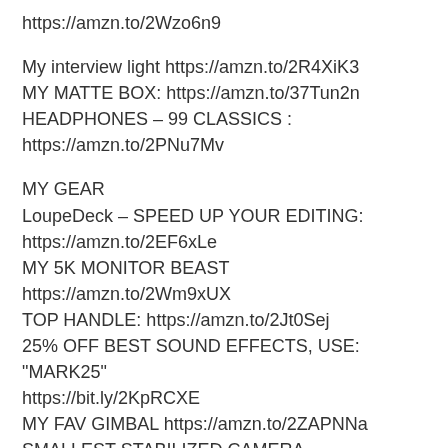https://amzn.to/2Wzo6n9
My interview light https://amzn.to/2R4XiK3
MY MATTE BOX: https://amzn.to/37Tun2n
HEADPHONES – 99 CLASSICS : https://amzn.to/2PNu7Mv
MY GEAR
LoupeDeck – SPEED UP YOUR EDITING: https://amzn.to/2EF6xLe
MY 5K MONITOR BEAST https://amzn.to/2Wm9xUX
TOP HANDLE: https://amzn.to/2Jt0Sej
25% OFF BEST SOUND EFFECTS, USE: "MARK25" https://bit.ly/2KpRCXE
MY FAV GIMBAL https://amzn.to/2ZAPNNa
SMALLEST STABILIZED CAMERA https://tinyurl.com/yyjzu3l9
VINTAGE LENS ADAPTER :https://amzn.to/2LMrcle